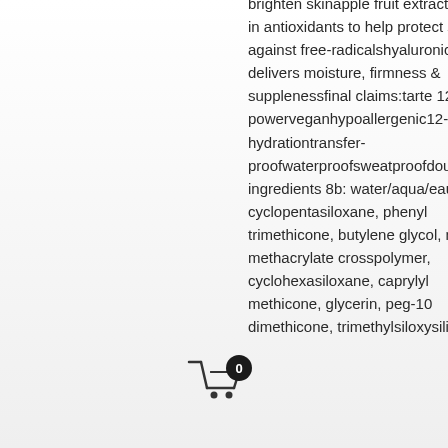brighten skinapple fruit extract: rich in antioxidants to help protect skin against free-radicalshyaluronic acid: delivers moisture, firmness & supplenessfinal claims:tarte 12-hour powerveganhypoallergenic12-hour hydrationtransfer-proofwaterproofsweatproofdoubledutybeautybeauty ingredients 8b: water/aqua/eau, cyclopentasiloxane, phenyl trimethicone, butylene glycol, methyl methacrylate crosspolymer, cyclohexasiloxane, caprylyl methicone, glycerin, peg-10 dimethicone, trimethylsiloxysilicate,
[Figure (other): Shopping cart icon with badge showing count 0]